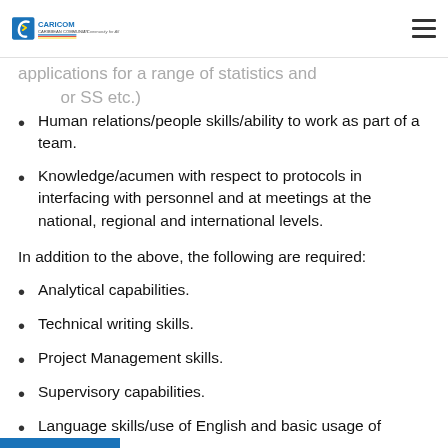CARICOM CARIBBEAN COMMUNITY — A Community for All
Human relations/people skills/ability to work as part of a team.
Knowledge/acumen with respect to protocols in interfacing with personnel and at meetings at the national, regional and international levels.
In addition to the above, the following are required:
Analytical capabilities.
Technical writing skills.
Project Management skills.
Supervisory capabilities.
Language skills/use of English and basic usage of Spanish and French.